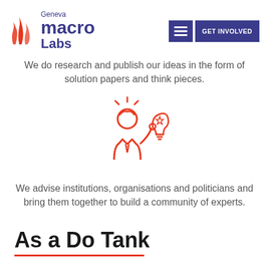[Figure (logo): Geneva Macro Labs logo with orange flame/bars icon and dark blue text reading 'Geneva macro Labs']
We do research and publish our ideas in the form of solution papers and think pieces.
[Figure (illustration): Red/orange line illustration of a person holding a lit lightbulb with a star, with rays indicating brightness]
We advise institutions, organisations and politicians and bring them together to build a community of experts.
As a Do Tank